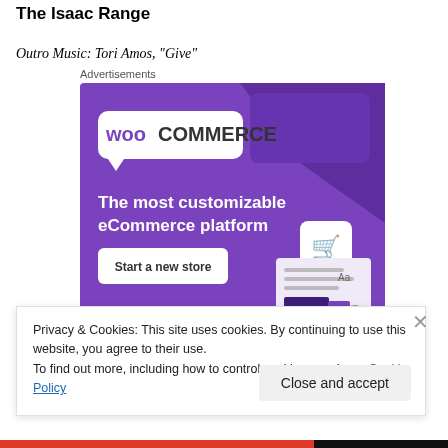The Isaac Range
Outro Music: Tori Amos, "Give"
Advertisements
[Figure (illustration): WooCommerce advertisement banner with purple background. Shows WooCommerce logo at top, text 'The most customizable eCommerce platform', a 'Start a new store' button, and UI mockup elements including a shopping cart icon.]
Privacy & Cookies: This site uses cookies. By continuing to use this website, you agree to their use.
To find out more, including how to control cookies, see here: Cookie Policy